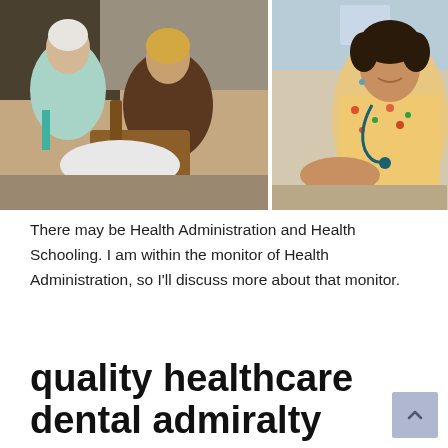[Figure (photo): Two photos side by side: left photo shows an elderly woman with white hair in a teal top being attended to by a younger caregiver with blonde hair in a brown top; right photo shows a smiling woman with curly dark hair wearing a floral top and stethoscope, suggesting a doctor or nurse.]
There may be Health Administration and Health Schooling. I am within the monitor of Health Administration, so I'll discuss more about that monitor.
quality healthcare dental admiralty